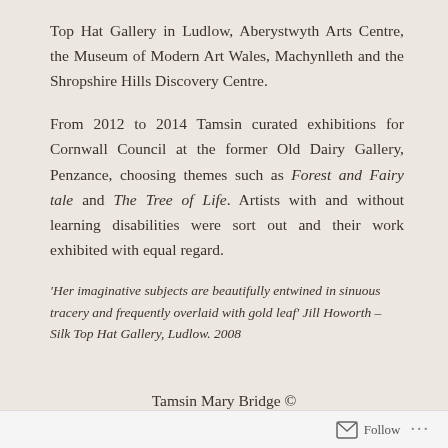Top Hat Gallery in Ludlow, Aberystwyth Arts Centre, the Museum of Modern Art Wales, Machynlleth and the Shropshire Hills Discovery Centre.
From 2012 to 2014 Tamsin curated exhibitions for Cornwall Council at the former Old Dairy Gallery, Penzance, choosing themes such as Forest and Fairy tale and The Tree of Life. Artists with and without learning disabilities were sort out and their work exhibited with equal regard.
'Her imaginative subjects are beautifully entwined in sinuous tracery and frequently overlaid with gold leaf' Jill Howorth – Silk Top Hat Gallery, Ludlow. 2008
Tamsin Mary Bridge ©